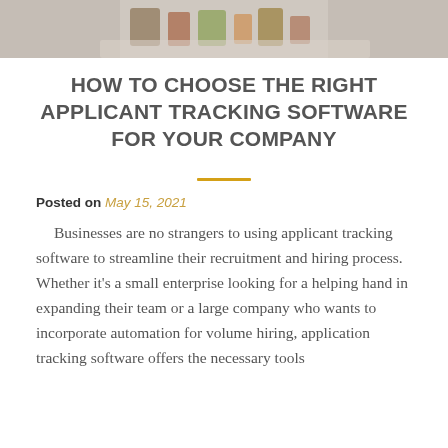[Figure (photo): Photo of people or miniature figures on a desk/surface, partially cropped at top]
HOW TO CHOOSE THE RIGHT APPLICANT TRACKING SOFTWARE FOR YOUR COMPANY
Posted on May 15, 2021
Businesses are no strangers to using applicant tracking software to streamline their recruitment and hiring process. Whether it's a small enterprise looking for a helping hand in expanding their team or a large company who wants to incorporate automation for volume hiring, application tracking software offers the necessary tools